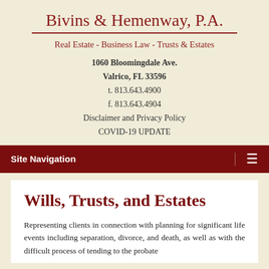Bivins & Hemenway, P.A.
Real Estate - Business Law - Trusts & Estates
1060 Bloomingdale Ave.
Valrico, FL 33596
t. 813.643.4900
f. 813.643.4904
Disclaimer and Privacy Policy
COVID-19 UPDATE
Site Navigation
Wills, Trusts, and Estates
Representing clients in connection with planning for significant life events including separation, divorce, and death, as well as with the difficult process of tending to the probate